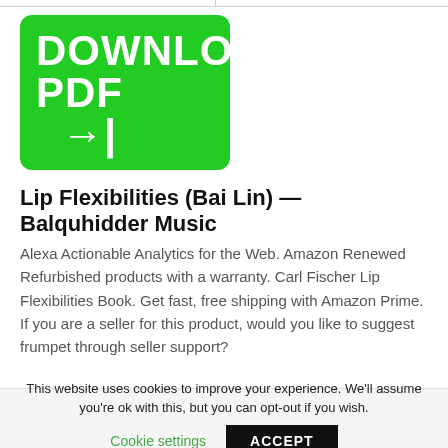[Figure (other): Green download button with white bold text reading DOWNLOAD PDF and a right arrow icon]
Lip Flexibilities (Bai Lin) — Balquhidder Music
Alexa Actionable Analytics for the Web. Amazon Renewed Refurbished products with a warranty. Carl Fischer Lip Flexibilities Book. Get fast, free shipping with Amazon Prime. If you are a seller for this product, would you like to suggest frumpet through seller support?
This website uses cookies to improve your experience. We'll assume you're ok with this, but you can opt-out if you wish.